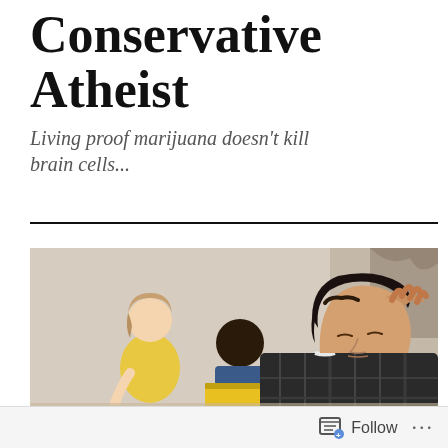Conservative Atheist
Living proof marijuana doesn't kill brain cells...
[Figure (photo): Classroom scene with three students. In the foreground, an Asian boy in a plaid shirt leans forward with his head resting on his hand, looking downward. Behind him, another student is visible, and in the background a girl in a yellow top sits at a desk.]
Follow  ...